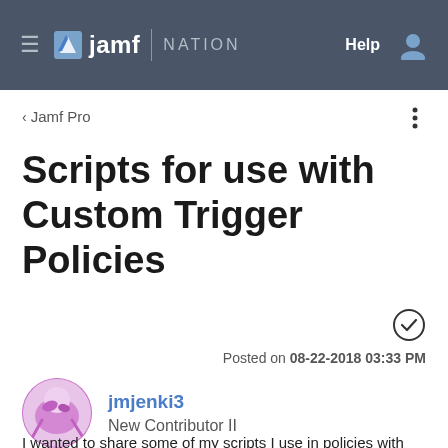jamf NATION  Help
< Jamf Pro
Scripts for use with Custom Trigger Policies
Posted on 08-22-2018 03:33 PM
jmjenki3
New Contributor II
I wanted to share some of my scripts I use in policies with